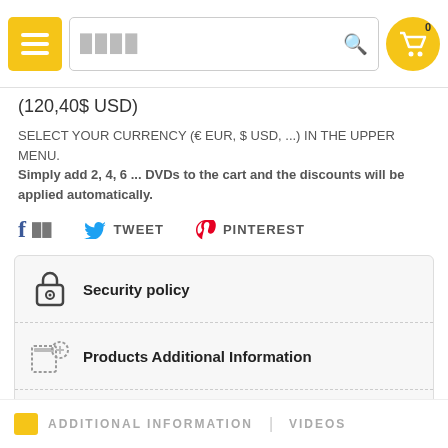Navigation header with menu, search bar, and cart
(120,40$ USD)
SELECT YOUR CURRENCY (€ EUR, $ USD, ...) IN THE UPPER MENU.
Simply add 2, 4, 6 ... DVDs to the cart and the discounts will be applied automatically.
f  [share]   TWEET   [pinterest] PINTEREST
Security policy
Products Additional Information
Shipping and Returns Policy
ADDITIONAL INFORMATION   VIDEOS